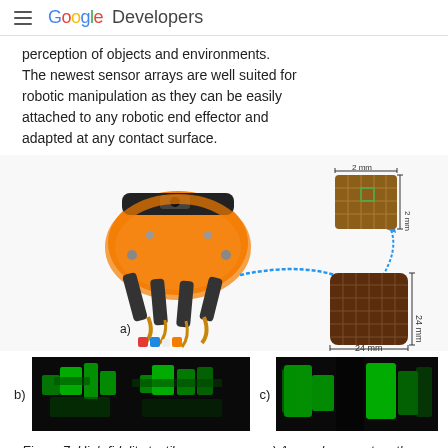Google Developers
perception of objects and environments. The newest sensor arrays are well suited for robotic manipulation as they can be easily attached to any robotic end effector and adapted at any contact surface.
[Figure (photo): High fidelity tactile sensor array mounted on a robotic gripper (a), with a close-up showing a 24mm x 24mm sensor pad and a 2mm x 2mm detail inset. Below are sensor data images: b) sensor data when gripper takes a pipette, c) additional sensor data view.]
Figure 7: High fidelity tactile sensor array: a) Array placement on the gripper. b) Sensor data when the gripper takes a pipette. c)